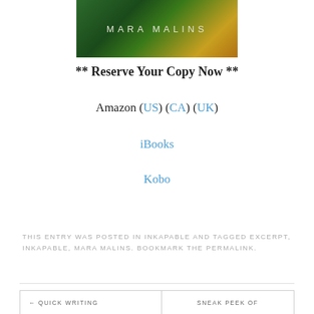[Figure (photo): Book cover image showing 'MARA MALINS' text on a dark green and yellow background]
** Reserve Your Copy Now **
Amazon (US) (CA) (UK)
iBooks
Kobo
THIS ENTRY WAS POSTED IN INKAPABLE AND TAGGED EXCERPT, INKAPABLE, MARA MALINS. BOOKMARK THE PERMALINK.
← QUICK WRITING    SNEAK PEEK OF